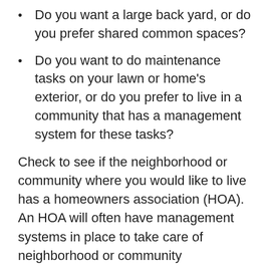Do you want a large back yard, or do you prefer shared common spaces?
Do you want to do maintenance tasks on your lawn or home's exterior, or do you prefer to live in a community that has a management system for these tasks?
Check to see if the neighborhood or community where you would like to live has a homeowners association (HOA). An HOA will often have management systems in place to take care of neighborhood or community maintenance concerns.
The Reston Association provides guidance to members on items ranging from annual assessment fees, property improvement processes, and resale disclosures, to